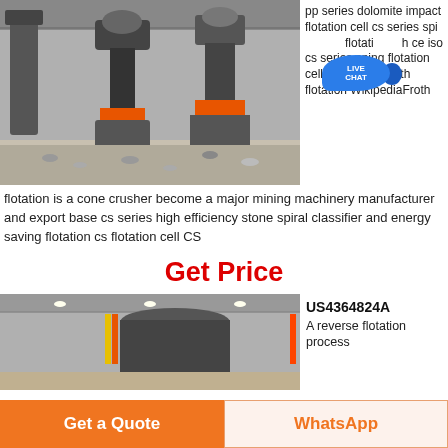[Figure (photo): Industrial flotation cell machinery inside a factory/warehouse]
pp series dolomite impact flotation cell cs series sping flotation cell with ce iso cs series sping flotation cell with ce isoFroth flotation WikipediaFroth
flotation is a cone crusher become a major mining machinery manufacturer and export base cs series high efficiency stone spiral classifier and energy saving flotation cs flotation cell CS
Get Price
[Figure (photo): Large industrial cylindrical machinery inside a factory]
US4364824A A reverse flotation process